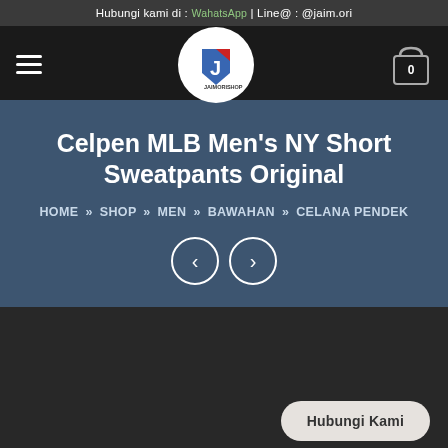Hubungi kami di : WahatsApp | Line@ : @jaim.ori
[Figure (logo): Jaimorishop circular logo with stylized J icon in red, blue, and white on white background]
Celpen MLB Men's NY Short Sweatpants Original
HOME » SHOP » MEN » BAWAHAN » CELANA PENDEK
Hubungi Kami